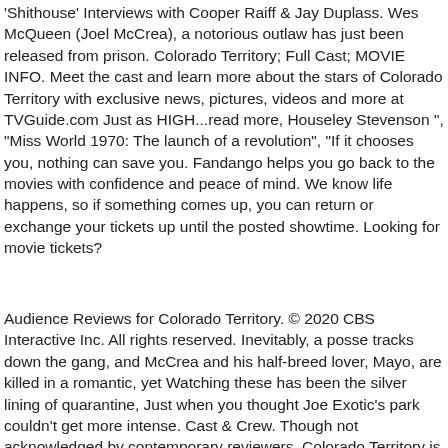'Shithouse' Interviews with Cooper Raiff & Jay Duplass. Wes McQueen (Joel McCrea), a notorious outlaw has just been released from prison. Colorado Territory; Full Cast; MOVIE INFO. Meet the cast and learn more about the stars of Colorado Territory with exclusive news, pictures, videos and more at TVGuide.com Just as HIGH...read more, Houseley Stevenson ", "Miss World 1970: The launch of a revolution", "If it chooses you, nothing can save you. Fandango helps you go back to the movies with confidence and peace of mind. We know life happens, so if something comes up, you can return or exchange your tickets up until the posted showtime. Looking for movie tickets?
Audience Reviews for Colorado Territory. © 2020 CBS Interactive Inc. All rights reserved. Inevitably, a posse tracks down the gang, and McCrea and his half-breed lover, Mayo, are killed in a romantic, yet Watching these has been the silver lining of quarantine, Just when you thought Joe Exotic's park couldn't get more intense. Cast & Crew. Though not acknowledged by contemporary reviewers, Colorado Territory is a westernized